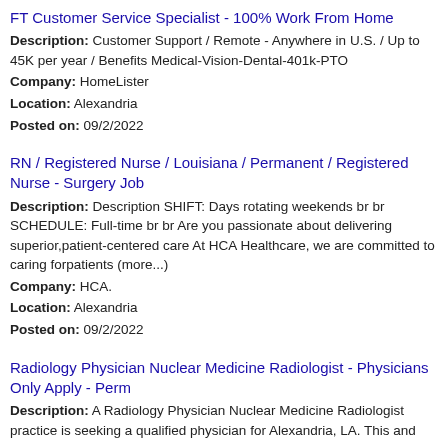FT Customer Service Specialist - 100% Work From Home
Description: Customer Support / Remote - Anywhere in U.S. / Up to 45K per year / Benefits Medical-Vision-Dental-401k-PTO
Company: HomeLister
Location: Alexandria
Posted on: 09/2/2022
RN / Registered Nurse / Louisiana / Permanent / Registered Nurse - Surgery Job
Description: Description SHIFT: Days rotating weekends br br SCHEDULE: Full-time br br Are you passionate about delivering superior,patient-centered care At HCA Healthcare, we are committed to caring forpatients (more...)
Company: HCA.
Location: Alexandria
Posted on: 09/2/2022
Radiology Physician Nuclear Medicine Radiologist - Physicians Only Apply - Perm
Description: A Radiology Physician Nuclear Medicine Radiologist practice is seeking a qualified physician for Alexandria, LA. This and